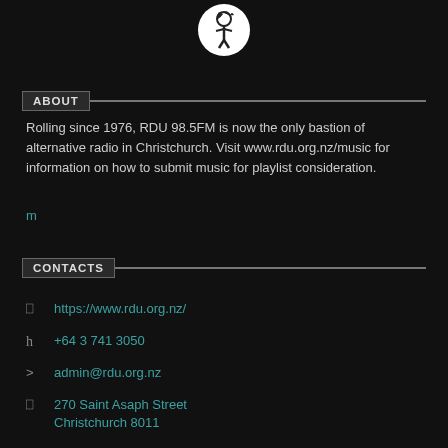[Figure (logo): RDU radio station circular logo in black and white]
ABOUT
Rolling since 1976, RDU 98.5FM is now the only bastion of alternative radio in Christchurch. Visit www.rdu.org.nz/music for information on how to submit music for playlist consideration.
m
CONTACTS
https://www.rdu.org.nz/
+64 3 741 3050
admin@rdu.org.nz
270 Saint Asaph Street
Christchurch 8011